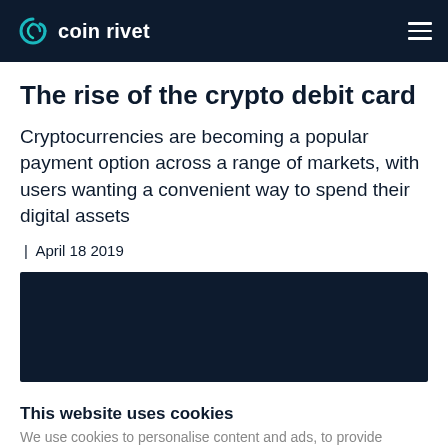coin rivet
The rise of the crypto debit card
Cryptocurrencies are becoming a popular payment option across a range of markets, with users wanting a convenient way to spend their digital assets
| April 18 2019
[Figure (photo): Dark background article hero image for the crypto debit card article]
This website uses cookies
We use cookies to personalise content and ads, to provide